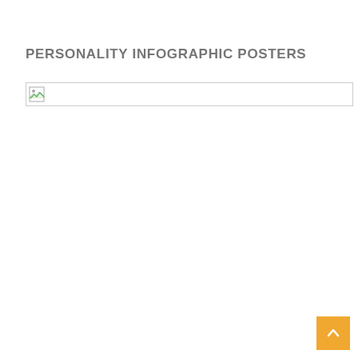PERSONALITY INFOGRAPHIC POSTERS
[Figure (illustration): Broken image placeholder icon with a thin border rectangle extending to the right edge of the content area]
[Figure (other): Orange/golden back-to-top button with an upward chevron arrow in the bottom-right corner]